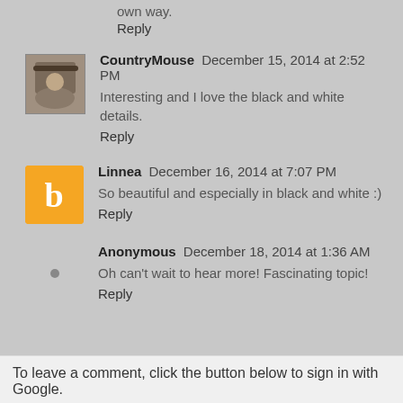own way.
Reply
CountryMouse  December 15, 2014 at 2:52 PM
Interesting and I love the black and white details.
Reply
Linnea  December 16, 2014 at 7:07 PM
So beautiful and especially in black and white :)
Reply
Anonymous  December 18, 2014 at 1:36 AM
Oh can't wait to hear more! Fascinating topic!
Reply
To leave a comment, click the button below to sign in with Google.